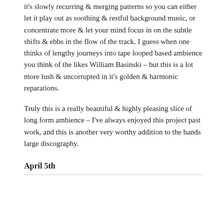it's slowly recurring & merging patterns so you can either let it play out as soothing & restful background music, or concentrate more & let your mind focus in on the subtle shifts & ebbs in the flow of the track. I guess when one thinks of lengthy journeys into tape looped based ambience you think of the likes William Basinski – but this is a lot more lush & uncorrupted in it's golden & harmonic reparations.
Truly this is a really beautiful & highly pleasing slice of long form ambience – I've always enjoyed this project past work, and this is another very worthy addition to the bands large discography.
April 5th
Categories
Celer
Misc
Oh Yoko
Revi...